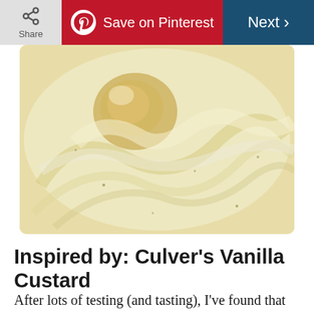Share | Save on Pinterest | Next >
[Figure (photo): Close-up photo of creamy vanilla custard ice cream with swirled texture and a golden scoop visible in the center]
Inspired by: Culver's Vanilla Custard
After lots of testing (and tasting), I've found that eggs are the key to making a smooth and creamy vanilla custard at home that rivals what you can get at a premium ice cream shop. —Peggy Woodward, Shullsburg,